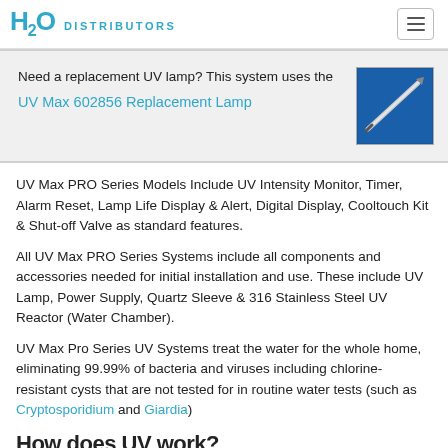H2O DISTRIBUTORS
Need a replacement UV lamp? This system uses the UV Max 602856 Replacement Lamp
[Figure (photo): UV lamp product photo on blue background]
UV Max PRO Series Models Include UV Intensity Monitor, Timer, Alarm Reset, Lamp Life Display & Alert, Digital Display, Cooltouch Kit & Shut-off Valve as standard features.
All UV Max PRO Series Systems include all components and accessories needed for initial installation and use. These include UV Lamp, Power Supply, Quartz Sleeve & 316 Stainless Steel UV Reactor (Water Chamber).
UV Max Pro Series UV Systems treat the water for the whole home, eliminating 99.99% of bacteria and viruses including chlorine-resistant cysts that are not tested for in routine water tests (such as Cryptosporidium and Giardia)
How does UV work?